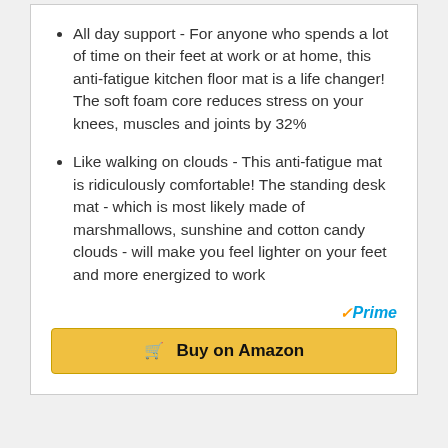All day support - For anyone who spends a lot of time on their feet at work or at home, this anti-fatigue kitchen floor mat is a life changer! The soft foam core reduces stress on your knees, muscles and joints by 32%
Like walking on clouds - This anti-fatigue mat is ridiculously comfortable! The standing desk mat - which is most likely made of marshmallows, sunshine and cotton candy clouds - will make you feel lighter on your feet and more energized to work